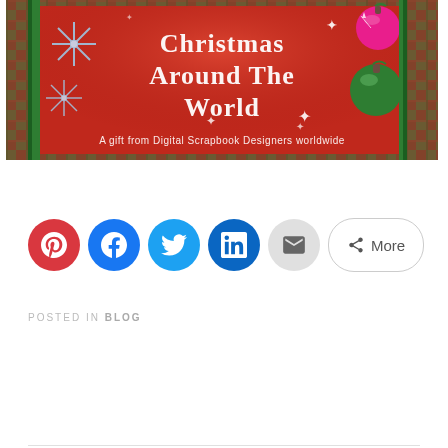[Figure (illustration): Banner image for 'Christmas Around The World' — red background with snowflakes, Christmas ornaments (pink and green balls), green ribbon, plaid border, text reads 'Christmas Around The World' and 'A gift from Digital Scrapbook Designers worldwide']
[Figure (infographic): Social sharing buttons: Pinterest (red), Facebook (blue), Twitter (light blue), LinkedIn (dark blue), Email (gray), and a More button with share icon]
POSTED IN BLOG